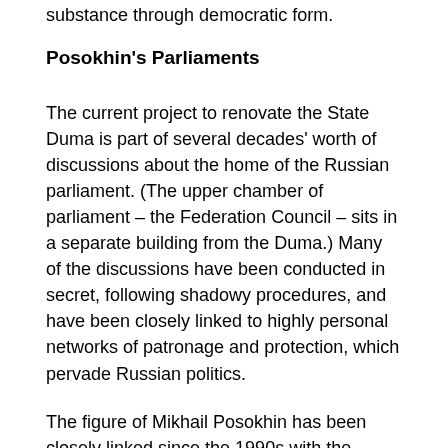substance through democratic form.
Posokhin's Parliaments
The current project to renovate the State Duma is part of several decades' worth of discussions about the home of the Russian parliament. (The upper chamber of parliament – the Federation Council – sits in a separate building from the Duma.) Many of the discussions have been conducted in secret, following shadowy procedures, and have been closely linked to highly personal networks of patronage and protection, which pervade Russian politics.
The figure of Mikhail Posokhin has been closely linked since the 1990s with the project to build a grand, new, purpose-designed home for the Russian parliament. He has produced dozens of concept drawings for